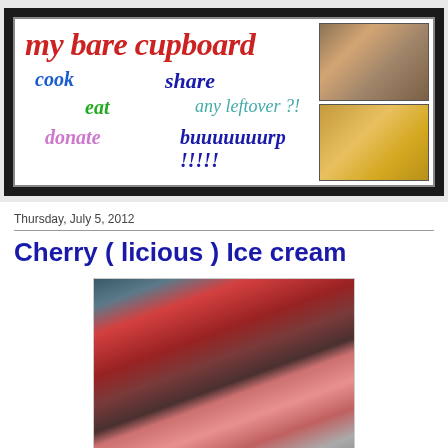[Figure (screenshot): Blog header banner for 'my bare cupboard' with tagwords: cook, share, eat, any leftover?!, donate, buuuuuuurp !!!!! and two food photos on the right side]
Thursday, July 5, 2012
Cherry ( licious ) Ice cream
[Figure (photo): Photo of cherries in a tin can and a scoop of cherry ice cream in a glass bowl]